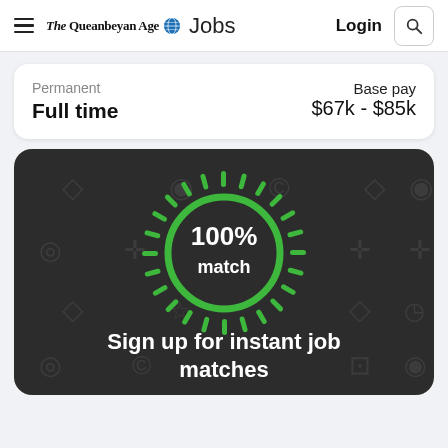The Queanbeyan Age Jobs — Login
Permanent
Full time
Base pay
$67k - $85k
[Figure (infographic): Dark rounded rectangle with green radial burst and circle in center reading '100% match', background has faint grey icons]
Sign up for instant job matches